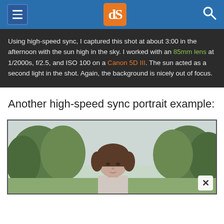dPS navigation header with hamburger menu, logo, and search icon
Using high-speed sync, I captured this shot at about 3:00 in the afternoon with the sun high in the sky. I worked with an 85mm lens at 1/2000s, f/2.5, and ISO 100 on a Canon 5D III. The sun acted as a second light in the shot. Again, the background is nicely out of focus.
Another high-speed sync portrait example:
[Figure (photo): Portrait photo of a woman with a short brown bob haircut, standing outdoors with trees and overcast sky in the background. High-speed sync flash portrait example.]